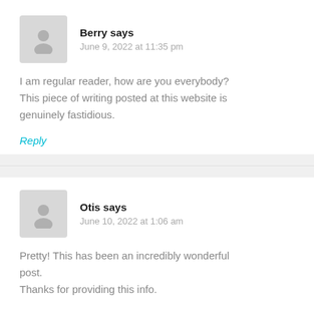Berry says
June 9, 2022 at 11:35 pm
I am regular reader, how are you everybody? This piece of writing posted at this website is genuinely fastidious.
Reply
Otis says
June 10, 2022 at 1:06 am
Pretty! This has been an incredibly wonderful post.
Thanks for providing this info.